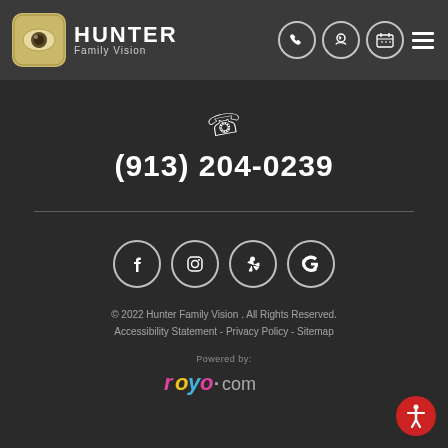[Figure (logo): Hunter Family Vision logo with eye icon and text]
(913) 204-0239
[Figure (infographic): Social media icons: Facebook, Instagram, Yelp, Google]
© 2022 Hunter Family Vision . All Rights Reserved. Accessibility Statement - Privacy Policy - Sitemap
Powered by: royo.com